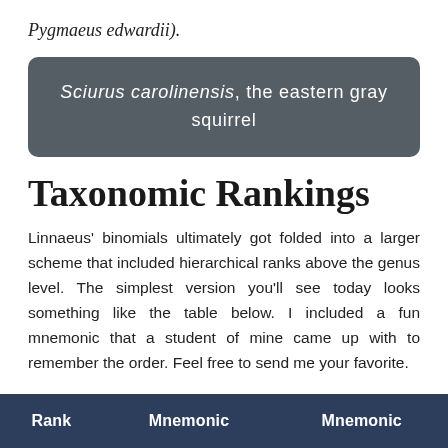Pygmaeus edwardii).
[Figure (other): Dark gray rounded callout box with white text: 'Sciurus carolinensis, the eastern gray squirrel']
Taxonomic Rankings
Linnaeus' binomials ultimately got folded into a larger scheme that included hierarchical ranks above the genus level. The simplest version you'll see today looks something like the table below. I included a fun mnemonic that a student of mine came up with to remember the order. Feel free to send me your favorite.
| Rank | Mnemonic | Mnemonic |
| --- | --- | --- |